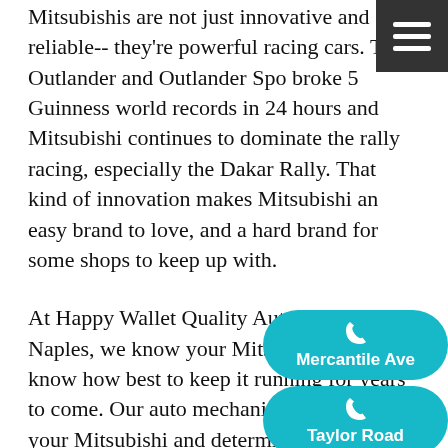Mitsubishis are not just innovative and reliable-- they're powerful racing cars. The Outlander and Outlander Sport broke 5 Guinness world records in 24 hours and Mitsubishi continues to dominate the rally racing, especially the Dakar Rally. That kind of innovation makes Mitsubishi an easy brand to love, and a hard brand for some shops to keep up with.
At Happy Wallet Quality Auto Repair in Naples, we know your Mitsubishi and we know how best to keep it running for years to come. Our auto mechanics will inspect your Mitsubishi and determine what issues are immediate, what is a short-term worry to address, and what long-term items to be aware of that can be put off for now. We with unnecessary work. Our reputation is important to us, as is every relationship we form with a Mitsubishi want you to feel peace of mind every time you Happy Wallet, knowing our team will be doing you, as our customer says in the testimonial b
[Figure (other): Teal rounded button with phone icon and label 'Mercantile Ave']
[Figure (other): Teal rounded button with phone icon and label 'Taylor Road']
[Figure (other): Teal rounded button with calendar icon]